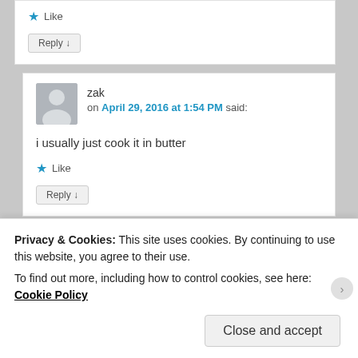Like
Reply ↓
zak on April 29, 2016 at 1:54 PM said:
i usually just cook it in butter
Like
Reply ↓
Privacy & Cookies: This site uses cookies. By continuing to use this website, you agree to their use.
To find out more, including how to control cookies, see here: Cookie Policy
Close and accept